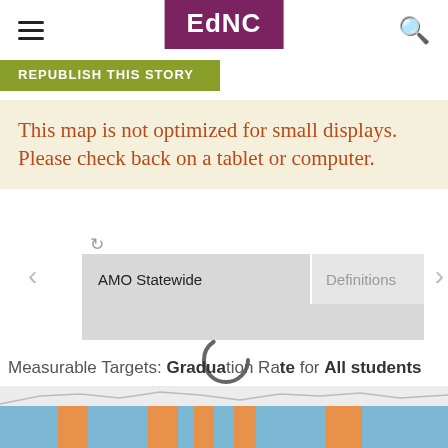EdNC
REPUBLISH THIS STORY
This map is not optimized for small displays. Please check back on a tablet or computer.
[Figure (screenshot): Interactive map interface with tabs 'AMO Statewide' and 'Definitions', navigation arrows, a loading spinner, and a partial North Carolina county map showing blue and orange colored counties.]
Measurable Targets: Graduation Rate for All students